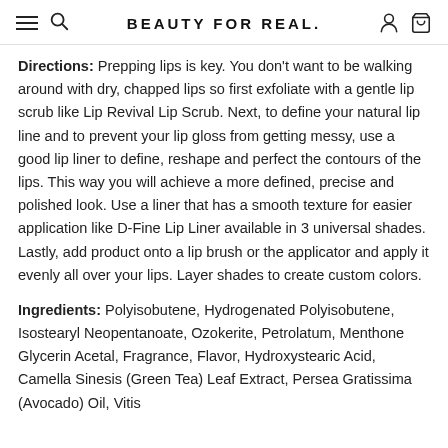BEAUTY FOR REAL.
Directions: Prepping lips is key. You don't want to be walking around with dry, chapped lips so first exfoliate with a gentle lip scrub like Lip Revival Lip Scrub. Next, to define your natural lip line and to prevent your lip gloss from getting messy, use a good lip liner to define, reshape and perfect the contours of the lips. This way you will achieve a more defined, precise and polished look. Use a liner that has a smooth texture for easier application like D-Fine Lip Liner available in 3 universal shades. Lastly, add product onto a lip brush or the applicator and apply it evenly all over your lips. Layer shades to create custom colors.
Ingredients: Polyisobutene, Hydrogenated Polyisobutene, Isostearyl Neopentanoate, Ozokerite, Petrolatum, Menthone Glycerin Acetal, Fragrance, Flavor, Hydroxystearic Acid, Camella Sinesis (Green Tea) Leaf Extract, Persea Gratissima (Avocado) Oil, Vitis...